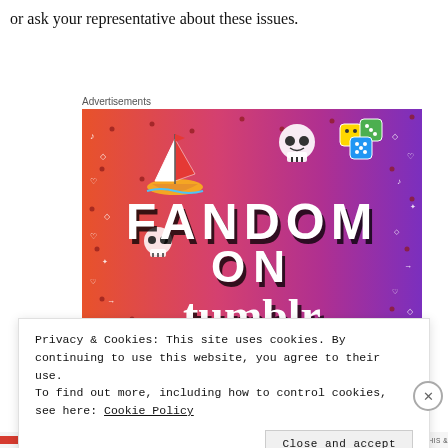or ask your representative about these issues.
Advertisements
[Figure (illustration): Fandom on Tumblr advertisement banner with colorful gradient background (orange to purple) featuring doodles, skull, sailboat, dice, and bold text reading FANDOM ON tumblr]
Privacy & Cookies: This site uses cookies. By continuing to use this website, you agree to their use.
To find out more, including how to control cookies, see here: Cookie Policy
Close and accept